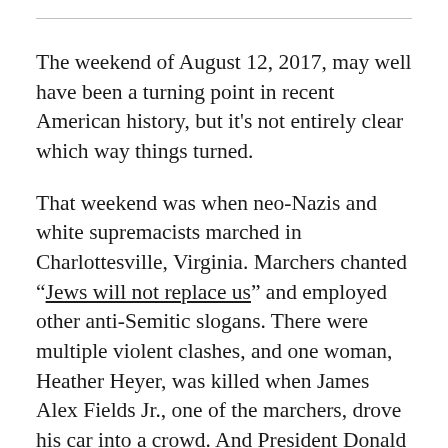The weekend of August 12, 2017, may well have been a turning point in recent American history, but it’s not entirely clear which way things turned.
That weekend was when neo-Nazis and white supremacists marched in Charlottesville, Virginia. Marchers chanted “Jews will not replace us” and employed other anti-Semitic slogans. There were multiple violent clashes, and one woman, Heather Heyer, was killed when James Alex Fields Jr., one of the marchers, drove his car into a crowd. And President Donald Trump infamously equivocated about the incident. Trump said there were “very fine people on both sides” and then vacillated over